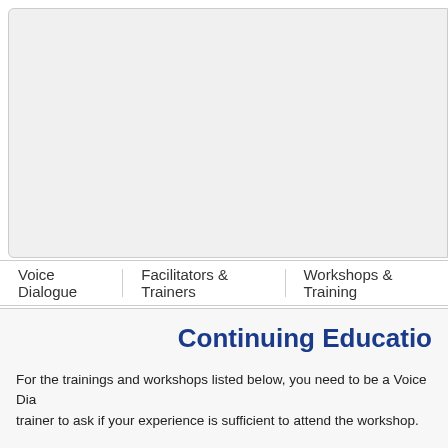[Figure (other): Light gray rounded rectangle header/banner area at the top of the page, appears to be a website screenshot with a navigation image placeholder.]
Voice Dialogue    Facilitators & Trainers    Workshops & Training
Continuing Education
For the trainings and workshops listed below, you need to be a Voice Dia... trainer to ask if your experience is sufficient to attend the workshop.
If you want to know more about paths towards pursuing Voice Dialogue a...